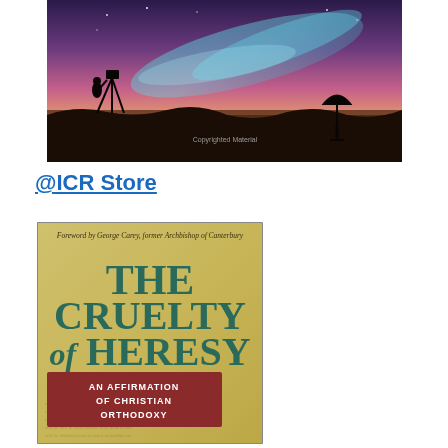[Figure (photo): Nighttime landscape photo showing silhouettes of a person with a camera on a tripod and a satellite dish on the right, under a colorful aurora/sunset sky with purple and blue hues, with text 'Copyrighted Material' visible.]
@ICR Store
[Figure (photo): Book cover for 'The Cruelty of Heresy: An Affirmation of Christian Orthodoxy'. Yellow/beige parchment-style background with large teal/green serif title text. Red-brown banner with subtitle in white. Top reads: 'Foreword by George Carey, former Archbishop of Canterbury'. Bottom shows faded handwritten manuscript text.]